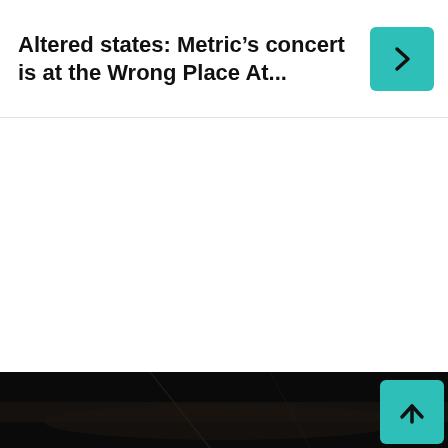Altered states: Metric’s concert is at the Wrong Place At...
[Figure (photo): Dark concert photo at the bottom of the page, partially visible]